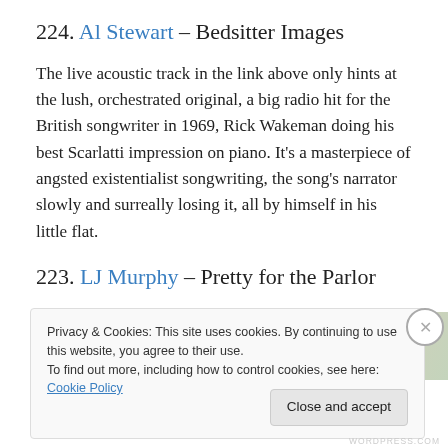224. Al Stewart – Bedsitter Images
The live acoustic track in the link above only hints at the lush, orchestrated original, a big radio hit for the British songwriter in 1969, Rick Wakeman doing his best Scarlatti impression on piano. It's a masterpiece of angsted existentialist songwriting, the song's narrator slowly and surreally losing it, all by himself in his little flat.
223. LJ Murphy – Pretty for the Parlor
[Figure (photo): Partial photo strip showing items on a surface, partially obscured by cookie banner]
Privacy & Cookies: This site uses cookies. By continuing to use this website, you agree to their use.
To find out more, including how to control cookies, see here: Cookie Policy